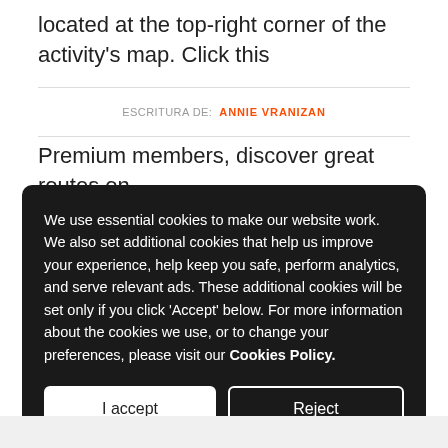located at the top-right corner of the activity's map. Click this
ESCRITURA DE: ANNIE VRANIZAN
Premium members, discover great routes on Strava.com and download them to your Garmin...
We use essential cookies to make our website work. We also set additional cookies that help us improve your experience, help keep you safe, perform analytics, and serve relevant ads. These additional cookies will be set only if you click 'Accept' below. For more information about the cookies we use, or to change your preferences, please visit our Cookies Policy.